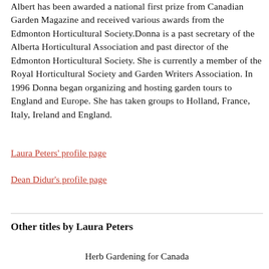Albert has been awarded a national first prize from Canadian Garden Magazine and received various awards from the Edmonton Horticultural Society.Donna is a past secretary of the Alberta Horticultural Association and past director of the Edmonton Horticultural Society. She is currently a member of the Royal Horticultural Society and Garden Writers Association. In 1996 Donna began organizing and hosting garden tours to England and Europe. She has taken groups to Holland, France, Italy, Ireland and England.
Laura Peters' profile page
Dean Didur's profile page
Other titles by Laura Peters
Herb Gardening for Canada